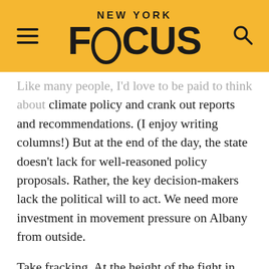NEW YORK FOCUS
Like many people, I'd love to be paid to think about climate policy and crank out reports and recommendations. (I enjoy writing columns!) But at the end of the day, the state doesn't lack for well-reasoned policy proposals. Rather, the key decision-makers lack the political will to act. We need more investment in movement pressure on Albany from outside.
Take fracking. At the height of the fight in New York 10 to 12 full-time organizers were working with groups and activists across the state. They helped mobilize grassroots opposition and focus public attention on the key decision-maker: Governor